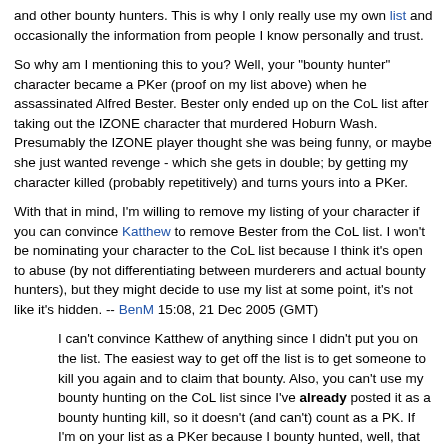and other bounty hunters. This is why I only really use my own list and occasionally the information from people I know personally and trust.
So why am I mentioning this to you? Well, your "bounty hunter" character became a PKer (proof on my list above) when he assassinated Alfred Bester. Bester only ended up on the CoL list after taking out the IZONE character that murdered Hoburn Wash. Presumably the IZONE player thought she was being funny, or maybe she just wanted revenge - which she gets in double; by getting my character killed (probably repetitively) and turns yours into a PKer.
With that in mind, I'm willing to remove my listing of your character if you can convince Katthew to remove Bester from the CoL list. I won't be nominating your character to the CoL list because I think it's open to abuse (by not differentiating between murderers and actual bounty hunters), but they might decide to use my list at some point, it's not like it's hidden. -- BenM 15:08, 21 Dec 2005 (GMT)
I can't convince Katthew of anything since I didn't put you on the list. The easiest way to get off the list is to get someone to kill you again and to claim that bounty. Also, you can't use my bounty hunting on the CoL list since I've already posted it as a bounty hunting kill, so it doesn't (and can't) count as a PK. If I'm on your list as a PKer because I bounty hunted, well, that can't be prevented, but since most people use the CoL list, I am going to guess that I'm safe anyways. Also, I